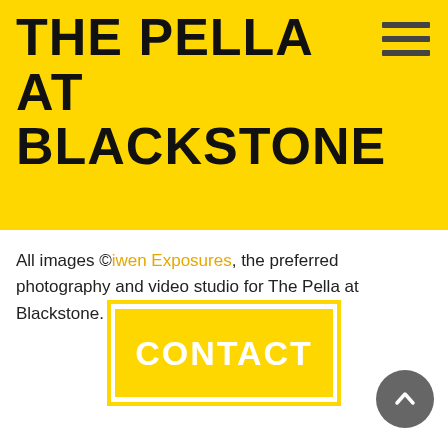THE PELLA AT BLACKSTONE
[Figure (other): Hamburger menu icon (three horizontal lines) in dark gray on yellow background]
All images ©iwen Exposures, the preferred photography and video studio for The Pella at Blackstone.
[Figure (other): CONTACT button with yellow background and border outline]
[Figure (other): Scroll-to-top button: dark gray circle with upward chevron arrow]